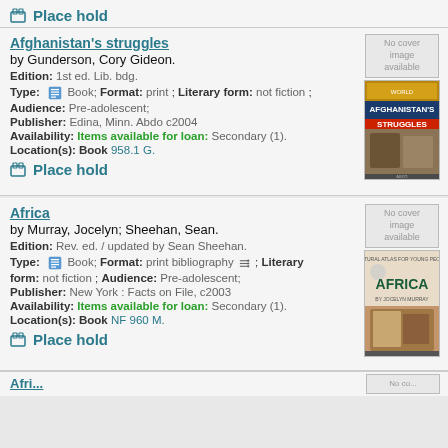Place hold
Afghanistan's struggles
by Gunderson, Cory Gideon.
Edition: 1st ed. Lib. bdg.
Type: Book; Format: print ; Literary form: not fiction ; Audience: Pre-adolescent;
Publisher: Edina, Minn. Abdo c2004
Availability: Items available for loan: Secondary (1).
Location(s): Book 958.1 G.
Place hold
Africa
by Murray, Jocelyn; Sheehan, Sean.
Edition: Rev. ed. / updated by Sean Sheehan.
Type: Book; Format: print bibliography ; Literary form: not fiction ; Audience: Pre-adolescent;
Publisher: New York : Facts on File, c2003
Availability: Items available for loan: Secondary (1).
Location(s): Book NF 960 M.
Place hold